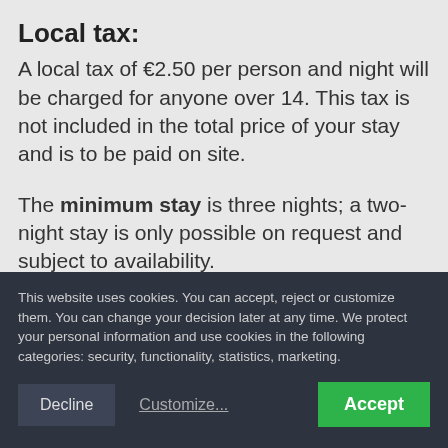Local tax:
A local tax of €2.50 per person and night will be charged for anyone over 14. This tax is not included in the total price of your stay and is to be paid on site.
The minimum stay is three nights; a two-night stay is only possible on request and subject to availability.
This website uses cookies. You can accept, reject or customize them. You can change your decision later at any time. We protect your personal information and use cookies in the following categories: security, functionality, statistics, marketing.
Decline  Customize...  Accept